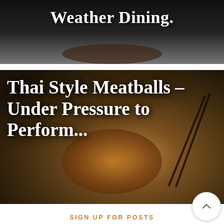[Figure (photo): Dark background with white bold text reading 'Weather Dining.' — top portion of a food blog page header image]
[Figure (photo): Photo of Thai style meatballs in a bowl with noodles, bok choy, and chopsticks. White bold serif text overlay reads 'Thai Style Meatballs – Under Pressure to Perform...']
SIGN UP FOR POSTS
Enter your email address to receive notifications of new posts by email. I promise to never share your email address.